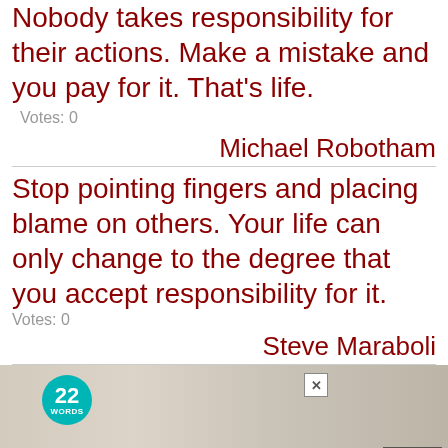Nobody takes responsibility for their actions. Make a mistake and you pay for it. That's life.
Votes: 0
Michael Robotham
Stop pointing fingers and placing blame on others. Your life can only change to the degree that you accept responsibility for it.  Votes: 0
Steve Maraboli
[Figure (screenshot): Advertisement featuring '22 Words' logo, photo of woman with children, CLOSE button overlay, and a yellow-background ad unit with text '37 HOME AND KITCHEN ITEMS EVERYONE SHOULD OWN']